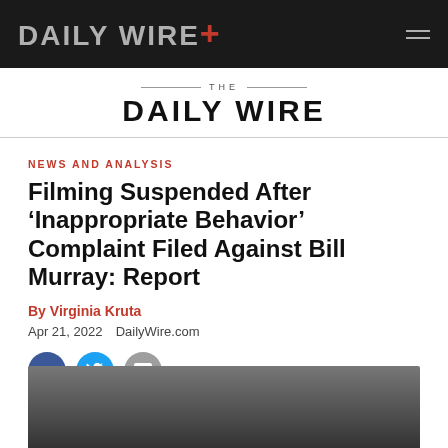DAILY WIRE+
THE DAILY WIRE
NEWS AND ANALYSIS
Filming Suspended After ‘Inappropriate Behavior’ Complaint Filed Against Bill Murray: Report
By Virginia Kruta
Apr 21, 2022  DailyWire.com
[Figure (photo): Social sharing buttons: Facebook, Twitter, and messaging icon]
[Figure (photo): Partial photo of a person, likely Bill Murray, cropped at bottom of page]